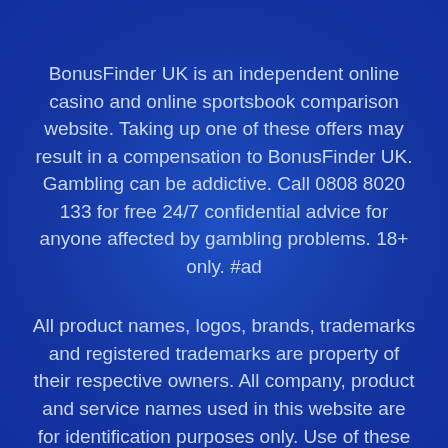BonusFinder UK is an independent online casino and online sportsbook comparison website. Taking up one of these offers may result in a compensation to BonusFinder UK. Gambling can be addictive. Call 0808 8020 133 for free 24/7 confidential advice for anyone affected by gambling problems. 18+ only. #ad
All product names, logos, brands, trademarks and registered trademarks are property of their respective owners. All company, product and service names used in this website are for identification purposes only. Use of these names, trademarks and brands does not imply endorsement.